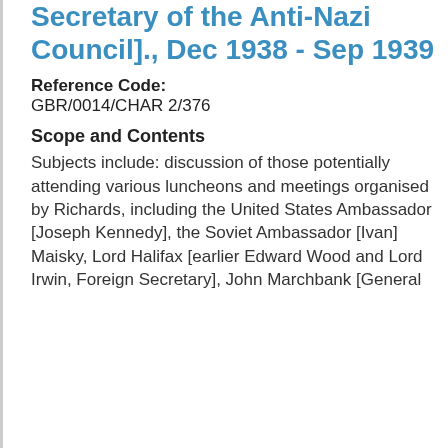Secretary of the Anti-Nazi Council]., Dec 1938 - Sep 1939
Reference Code: GBR/0014/CHAR 2/376
Scope and Contents
Subjects include: discussion of those potentially attending various luncheons and meetings organised by Richards, including the United States Ambassador [Joseph Kennedy], the Soviet Ambassador [Ivan] Maisky, Lord Halifax [earlier Edward Wood and Lord Irwin, Foreign Secretary], John Marchbank [General